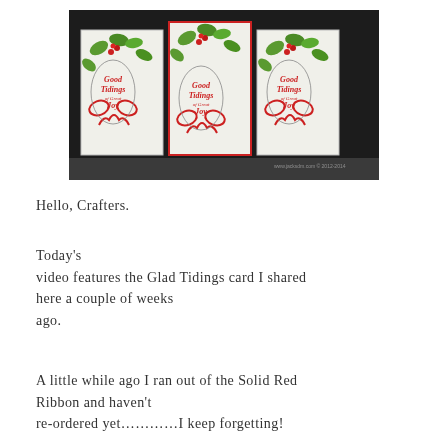[Figure (photo): Three handmade Christmas cards side by side showing 'Good Tidings of Great Joy' text with holly leaves and red ribbons, displayed against a dark background. The middle card has a red border.]
Hello, Crafters.
Today's video features the Glad Tidings card I shared here a couple of weeks ago.
A little while ago I ran out of the Solid Red Ribbon and haven't re-ordered yet…………I keep forgetting!